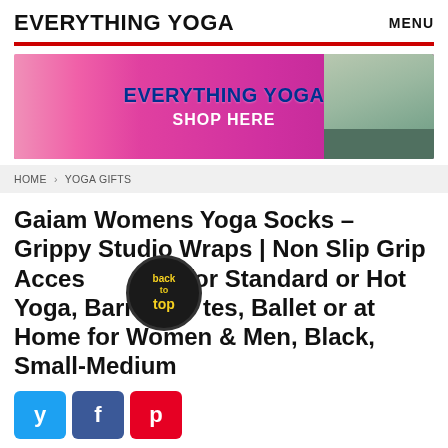EVERYTHING YOGA   MENU
[Figure (illustration): Everything Yoga banner advertisement with yoga mat person on left, 'EVERYTHING YOGA / SHOP HERE' text in center, meditating woman on right, pink gradient background]
HOME > YOGA GIFTS
Gaiam Womens Yoga Socks – Grippy Studio Wraps | Non Slip Grip Accessories for Standard or Hot Yoga, Barre, Pilates, Ballet or at Home for Women & Men, Black, Small-Medium
[Figure (infographic): Social share buttons: Twitter (blue), Facebook (dark blue), Pinterest (red)]